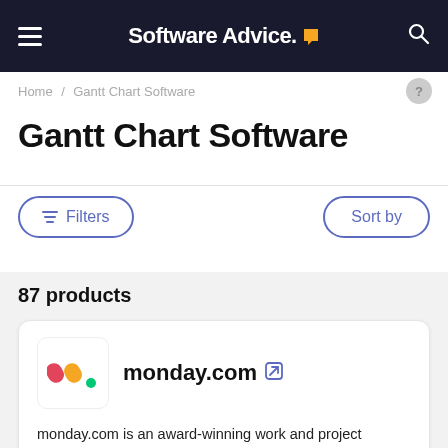Software Advice.
Home / Gantt Chart Software
Gantt Chart Software
Filters   Sort by
87 products
monday.com
monday.com is an award-winning work and project management platform that helps teams of all sizes plan, prioritize, manage, and execute their work more effectively. The platform offers solutions for a wide